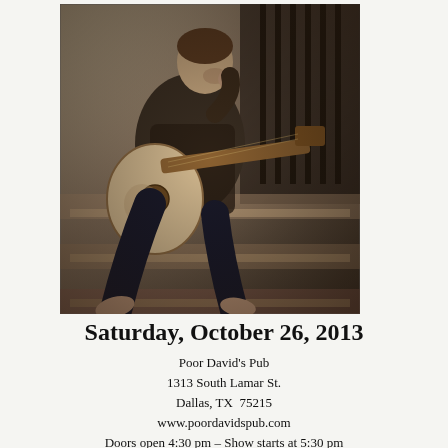[Figure (photo): Black and white sepia-toned photograph of a man sitting on wooden stairs barefoot, holding an acoustic guitar with artwork on the body, wearing a plaid shirt and dark jeans, with his hand near his face in a thoughtful pose.]
Saturday, October 26, 2013
Poor David's Pub
1313 South Lamar St.
Dallas, TX  75215
www.poordavidspub.com
Doors open 4:30 pm – Show starts at 5:30 pm
Tickets only $25 Reserved / $20 GA